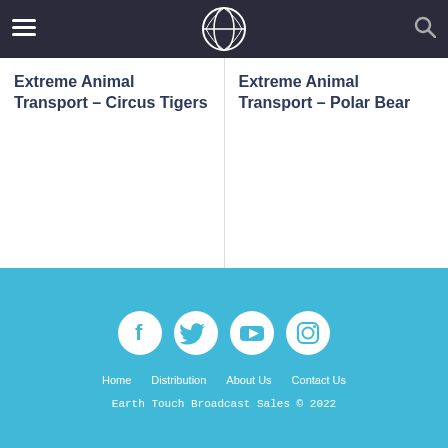Earth Touch — Our Planet. Close Up.
Extreme Animal Transport – Circus Tigers
Extreme Animal Transport – Polar Bear
[Figure (logo): Social media icons: Facebook, Twitter, YouTube, Instagram — white on sky-blue circles]
Home   Distribution   About Us   Contact Us
Earth Touch Broadcast Sales © 2022